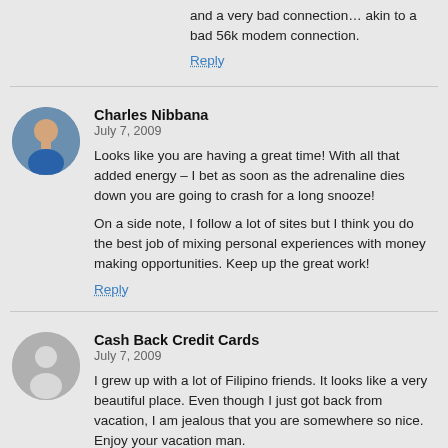and a very bad connection… akin to a bad 56k modem connection.
Reply
Charles Nibbana
July 7, 2009
Looks like you are having a great time! With all that added energy – I bet as soon as the adrenaline dies down you are going to crash for a long snooze!
On a side note, I follow a lot of sites but I think you do the best job of mixing personal experiences with money making opportunities. Keep up the great work!
Reply
Cash Back Credit Cards
July 7, 2009
I grew up with a lot of Filipino friends. It looks like a very beautiful place. Even though I just got back from vacation, I am jealous that you are somewhere so nice. Enjoy your vacation man.